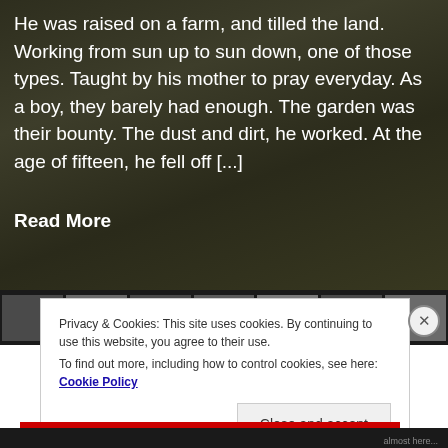[Figure (photo): Dark background photo of a garden or farm soil/dirt with some green plants visible]
He was raised on a farm, and tilled the land. Working from sun up to sun down, one of those types. Taught by his mother to pray everyday. As a boy, they barely had enough. The garden was their bounty. The dust and dirt, he worked. At the age of fifteen, he fell off [...]
Read More
Privacy & Cookies: This site uses cookies. By continuing to use this website, you agree to their use.
To find out more, including how to control cookies, see here: Cookie Policy
Close and accept